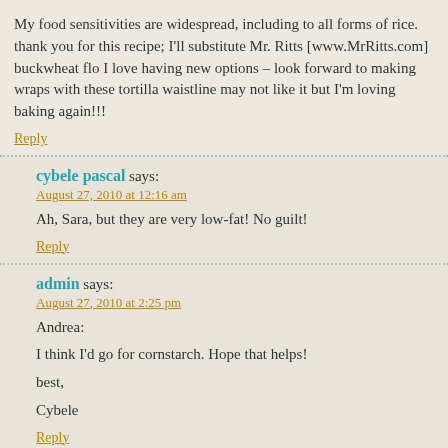My food sensitivities are widespread, including to all forms of rice. thank you for this recipe; I'll substitute Mr. Ritts [www.MrRitts.com] buckwheat flo I love having new options – look forward to making wraps with these tortilla waistline may not like it but I'm loving baking again!!!
Reply
cybele pascal says: August 27, 2010 at 12:16 am
Ah, Sara, but they are very low-fat! No guilt!
Reply
admin says: August 27, 2010 at 2:25 pm
Andrea:
I think I'd go for cornstarch. Hope that helps!
best,
Cybele
Reply
Tracy says: August 30, 2010 at 7:42 am